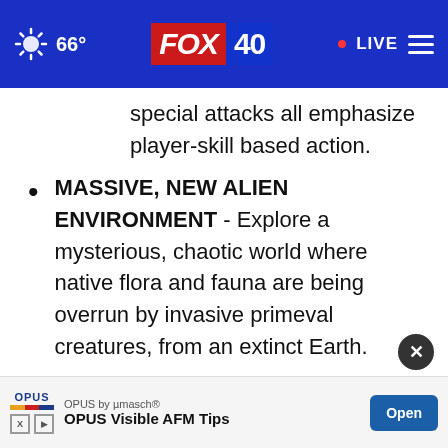66° FOX 40 • LIVE
special attacks all emphasize player-skill based action.
MASSIVE, NEW ALIEN ENVIRONMENT - Explore a mysterious, chaotic world where native flora and fauna are being overrun by invasive primeval creatures, from an extinct Earth.
COMPONENT-BASED ITEM CRAFTING - Construct weapons and tools from a range of... look ...e